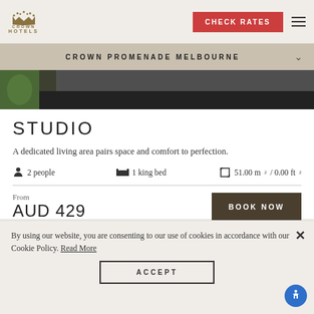[Figure (logo): Crown Hotels logo with crown icon in gold and text CROWN HOTELS]
CROWN PROMENADE MELBOURNE
[Figure (photo): Hotel room interior photo showing dark surface and greenery]
STUDIO
A dedicated living area pairs space and comfort to perfection.
2 people  1 king bed  51.00 m2 / 0.00 ft2
From
AUD 429
By using our website, you are consenting to our use of cookies in accordance with our Cookie Policy. Read More
ACCEPT